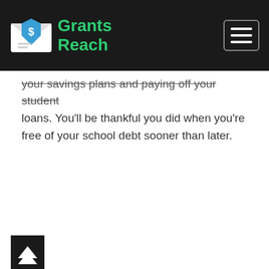Grants Reach
your savings plans and paying off your student loans. You'll be thankful you did when you're free of your school debt sooner than later.